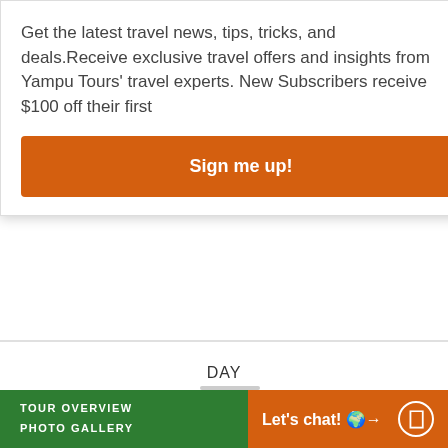Get the latest travel news, tips, tricks, and deals.Receive exclusive travel offers and insights from Yampu Tours’ travel experts. New Subscribers receive $100 off their first
Sign me up!
DAY
2
Arrival in Nairobi
Upon arrival to Nairobi, you will be met at the airport and transferred to your hotel.
TOUR OVERVIEW
PHOTO GALLERY
Let's chat!